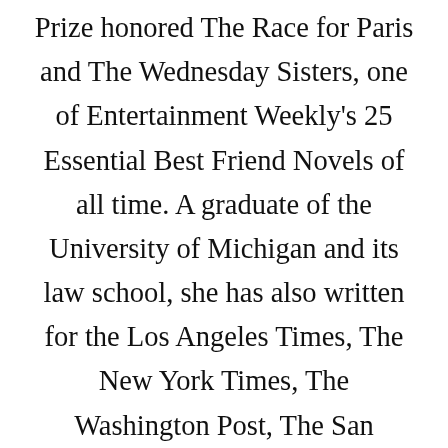Prize honored The Race for Paris and The Wednesday Sisters, one of Entertainment Weekly's 25 Essential Best Friend Novels of all time. A graduate of the University of Michigan and its law school, she has also written for the Los Angeles Times, The New York Times, The Washington Post, The San Francisco Chronicle, Forbes, Runners World, and public radio, often on the subject of the particular challenges women face. megwaiteclayton.com